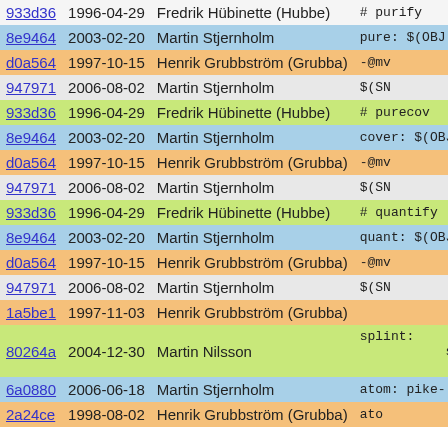| hash | date | author |  | code |
| --- | --- | --- | --- | --- |
| 933d36 | 1996-04-29 | Fredrik Hübinette (Hubbe) | green | # purify |
| 8e9464 | 2003-02-20 | Martin Stjernholm | blue | pure: $(OBJ |
| d0a564 | 1997-10-15 | Henrik Grubbström (Grubba) | orange | -@mv |
| 947971 | 2006-08-02 | Martin Stjernholm | blue | $(SN |
| 933d36 | 1996-04-29 | Fredrik Hübinette (Hubbe) | green | # purecov |
| 8e9464 | 2003-02-20 | Martin Stjernholm | blue | cover: $(OBJ |
| d0a564 | 1997-10-15 | Henrik Grubbström (Grubba) | orange | -@mv |
| 947971 | 2006-08-02 | Martin Stjernholm | blue | $(SN |
| 933d36 | 1996-04-29 | Fredrik Hübinette (Hubbe) | green | # quantify |
| 8e9464 | 2003-02-20 | Martin Stjernholm | blue | quant: $(OBJ |
| d0a564 | 1997-10-15 | Henrik Grubbström (Grubba) | orange | -@mv |
| 947971 | 2006-08-02 | Martin Stjernholm | blue | $(SN |
| 1a5be1 | 1997-11-03 | Henrik Grubbström (Grubba) | orange |  |
| 80264a | 2004-12-30 | Martin Nilsson | green | splint: spl |
| 6a0880 | 2006-06-18 | Martin Stjernholm | blue | atom: pike- |
| 2a24ce | 1998-08-02 | Henrik Grubbström (Grubba) | orange | ato |